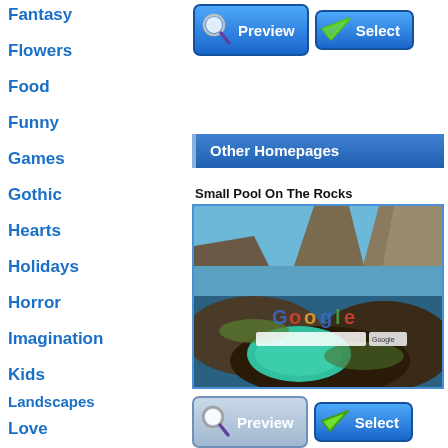Fantasy
Flowers
Food
Funny
Games
Gothic
Hearts
Holidays
Horror
Imagination
Kids
Landscapes
Love
Movies and Series
Music
Nature
Paintings
[Figure (screenshot): Preview button with magnifying glass icon and blue gradient background]
[Figure (screenshot): Select button with green checkmark icon and blue gradient background]
Other Homepages
Small Pool On The Rocks
[Figure (photo): Small pool on rocks near ocean with rocky outcroppings and turquoise water, Google search interface overlaid]
[Figure (screenshot): Preview button with magnifying glass icon and blue gradient background (bottom)]
[Figure (screenshot): Select button with green checkmark icon and blue gradient background (bottom)]